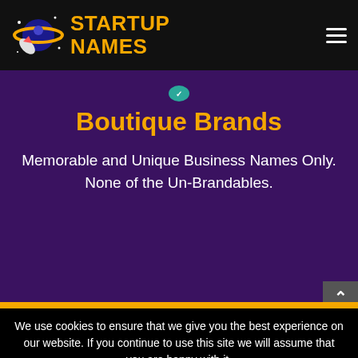[Figure (logo): Startup Names logo with planet/rocket icon and orange bold text 'STARTUP NAMES']
Boutique Brands
Memorable and Unique Business Names Only. None of the Un-Brandables.
We use cookies to ensure that we give you the best experience on our website. If you continue to use this site we will assume that you are happy with it.